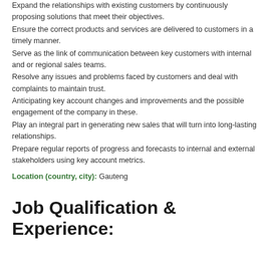Expand the relationships with existing customers by continuously proposing solutions that meet their objectives.
Ensure the correct products and services are delivered to customers in a timely manner.
Serve as the link of communication between key customers with internal and or regional sales teams.
Resolve any issues and problems faced by customers and deal with complaints to maintain trust.
Anticipating key account changes and improvements and the possible engagement of the company in these.
Play an integral part in generating new sales that will turn into long-lasting relationships.
Prepare regular reports of progress and forecasts to internal and external stakeholders using key account metrics.
Location (country, city): Gauteng
Job Qualification & Experience: